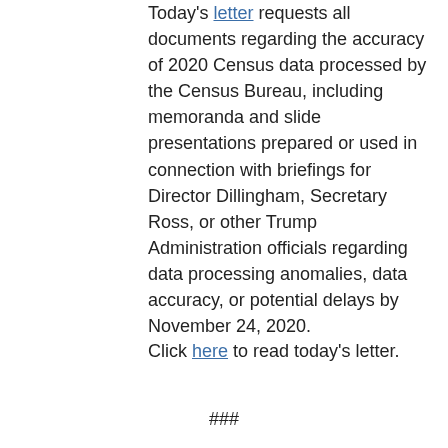Today's letter requests all documents regarding the accuracy of 2020 Census data processed by the Census Bureau, including memoranda and slide presentations prepared or used in connection with briefings for Director Dillingham, Secretary Ross, or other Trump Administration officials regarding data processing anomalies, data accuracy, or potential delays by November 24, 2020.
Click here to read today's letter.
###